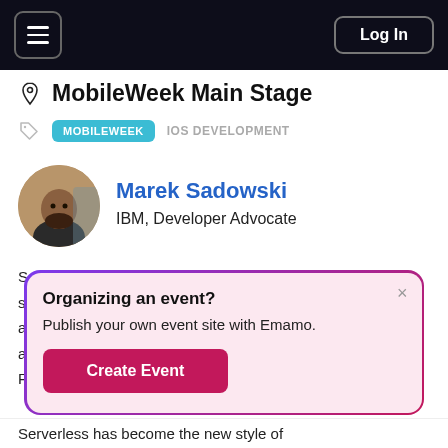Log In
MobileWeek Main Stage
MOBILEWEEK  IOS DEVELOPMENT
[Figure (photo): Circular avatar photo of Marek Sadowski]
Marek Sadowski
IBM, Developer Advocate
Organizing an event?
Publish your own event site with Emamo.
Create Event
Serverless has become the new style of